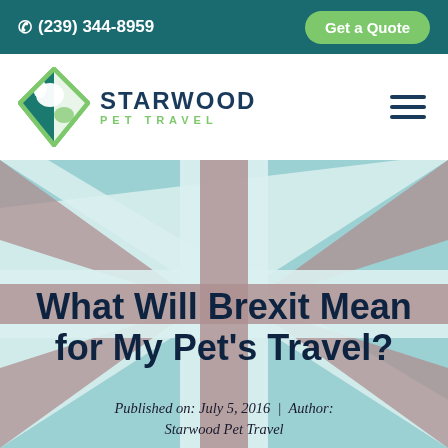☎ (239) 344-8959  |  Get a Quote
[Figure (logo): Starwood Pet Travel logo — diamond shape with dog and cat silhouette, teal and green colors]
What Will Brexit Mean for My Pet's Travel?
Published on: July 5, 2016  |  Author: Starwood Pet Travel